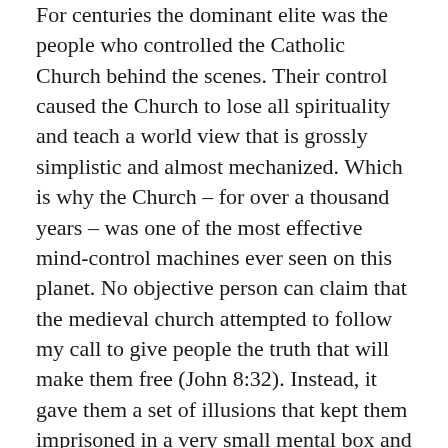For centuries the dominant elite was the people who controlled the Catholic Church behind the scenes. Their control caused the Church to lose all spirituality and teach a world view that is grossly simplistic and almost mechanized. Which is why the Church – for over a thousand years – was one of the most effective mind-control machines ever seen on this planet. No objective person can claim that the medieval church attempted to follow my call to give people the truth that will make them free (John 8:32). Instead, it gave them a set of illusions that kept them imprisoned in a very small mental box and a very rigid outer society controlled by a small elite. No wonder they call it the dark ages.
As always happens, the dominant elite became blinded by their own mindset, they became a closed system, and their power started slipping. Because of the rigidity with which they attempted to defend